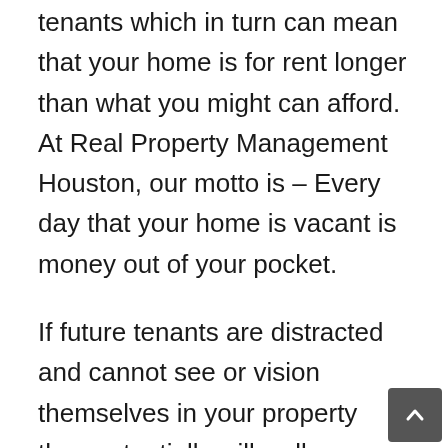tenants which in turn can mean that your home is for rent longer than what you might can afford. At Real Property Management Houston, our motto is – Every day that your home is vacant is money out of your pocket.
If future tenants are distracted and cannot see or vision themselves in your property they potentially will walk away. Making your home attractive to people looking for a rental is a must and that could include some good staging of the home. Below are some good Rental Home Killers that you